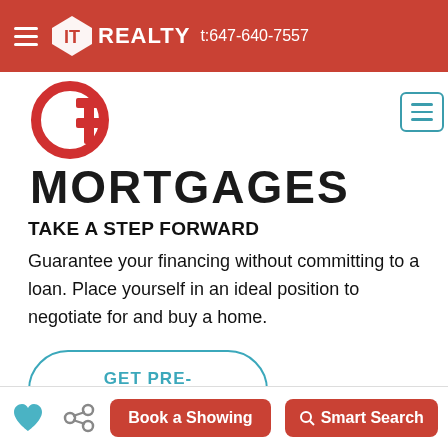IT REALTY t:647-640-7557
MORTGAGES
TAKE A STEP FORWARD
Guarantee your financing without committing to a loan. Place yourself in an ideal position to negotiate for and buy a home.
GET PRE-APPROVED